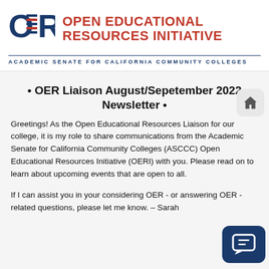[Figure (logo): OER Open Educational Resources Initiative logo with blue OER letters and red bold text]
ACADEMIC SENATE FOR CALIFORNIA COMMUNITY COLLEGES
• OER Liaison August/Sepetember 2022 Newsletter •
Greetings! As the Open Educational Resources Liaison for our college, it is my role to share communications from the Academic Senate for California Community Colleges (ASCCC) Open Educational Resources Initiative (OERI) with you. Please read on to learn about upcoming events that are open to all.
If I can assist you in your considering OER - or answering OER - related questions, please let me know. – Sarah